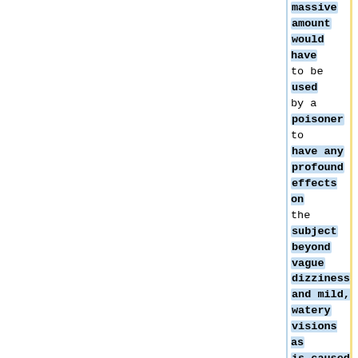massive amount would have to be used by a poisoner to have any profound effects on the subject beyond vague dizziness and mild, watery visions as is caused by the prick from a living Bloodthorn Vine thorn.